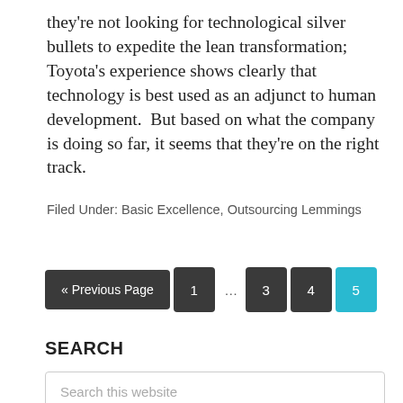they're not looking for technological silver bullets to expedite the lean transformation; Toyota's experience shows clearly that technology is best used as an adjunct to human development.  But based on what the company is doing so far, it seems that they're on the right track.
Filed Under: Basic Excellence, Outsourcing Lemmings
« Previous Page  1  …  3  4  5
SEARCH
Search this website